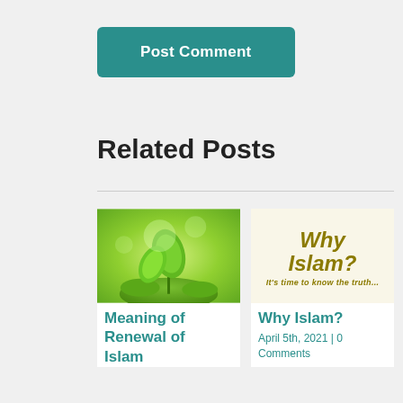Post Comment
Related Posts
[Figure (photo): Green seedling plant sprouting on mossy ground with blurred green background]
Meaning of Renewal of Islam
[Figure (illustration): Why Islam? logo — bold italic text in dark gold/olive color with subtitle 'It's time to know the truth...']
Why Islam?
April 5th, 2021 | 0 Comments